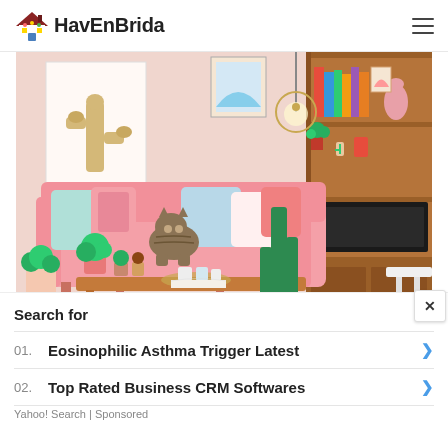HavEnBrida
[Figure (photo): Interior living room photo showing a pink sofa with a cat sitting on it, colorful throw pillows, a wooden bookshelf with plants and books, a cactus wall art, pendant light, and green plants on a wooden coffee table.]
Search for
01. Eosinophilic Asthma Trigger Latest
02. Top Rated Business CRM Softwares
Yahoo! Search | Sponsored